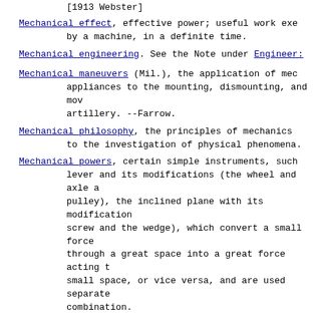[1913 Webster]
Mechanical effect, effective power; useful work exerted by a machine, in a definite time.
Mechanical engineering. See the Note under Engineer:
Mechanical maneuvers (Mil.), the application of mechanical appliances to the mounting, dismounting, and moving of artillery. --Farrow.
Mechanical philosophy, the principles of mechanics applied to the investigation of physical phenomena.
Mechanical powers, certain simple instruments, such as the lever and its modifications (the wheel and axle and the pulley), the inclined plane with its modifications (the screw and the wedge), which convert a small force acting through a great space into a great force acting through a small space, or vice versa, and are used separately or in combination.
Mechanical solution (Math.), a solution of a problem by art or contrivance not strictly geometrical, as by the use of the ruler and compasses, or other instruments. [1913 Webster]
Contact=webmaster@dict.org Specification=RFC 2229